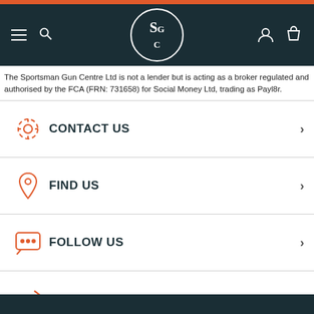[Figure (screenshot): Navigation bar with SGC logo, hamburger menu, search icon, user icon, and bag icon on dark teal background]
The Sportsman Gun Centre Ltd is not a lender but is acting as a broker regulated and authorised by the FCA (FRN: 731658) for Social Money Ltd, trading as Payl8r.
CONTACT US
FIND US
FOLLOW US
TRADE ENQUIRIES